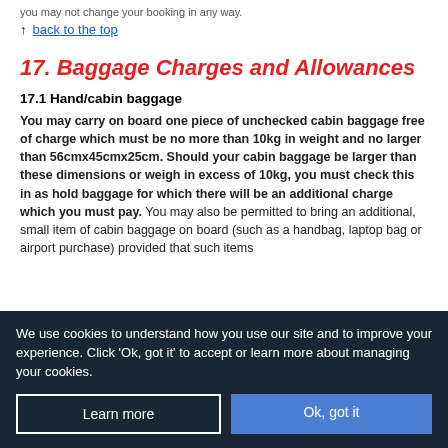you may not change your booking in any way.
↑ back to the top
17. Baggage Charges and Allowances
17.1 Hand/cabin baggage
You may carry on board one piece of unchecked cabin baggage free of charge which must be no more than 10kg in weight and no larger than 56cmx45cmx25cm. Should your cabin baggage be larger than these dimensions or weigh in excess of 10kg, you must check this in as hold baggage for which there will be an additional charge which you must pay. You may also be permitted to bring an additional, small item of cabin baggage on board (such as a handbag, laptop bag or airport purchase) provided that such items
We use cookies to understand how you use our site and to improve your experience. Click 'Ok, got it' to accept or learn more about managing your cookies.